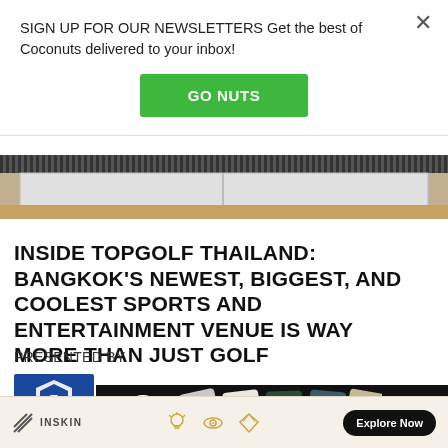SIGN UP FOR OUR NEWSLETTERS Get the best of Coconuts delivered to your inbox!
GO NUTS
[Figure (photo): Partial view of Topgolf Thailand venue interior showing ball-dispensing unit or equipment shelf with striped pattern above]
INSIDE TOPGOLF THAILAND: BANGKOK'S NEWEST, BIGGEST, AND COOLEST SPORTS AND ENTERTAINMENT VENUE IS WAY MORE THAN JUST GOLF
PRESENTED BY
[Figure (logo): Blue sponsor logo with shield icon]
[Figure (screenshot): Bottom advertisement banner showing headphones with black background, plus sign, circular logo, headphone images, and BUY button]
INSKIN   Explore Now